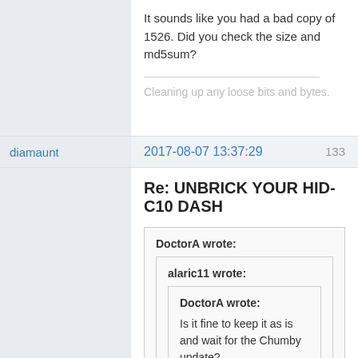It sounds like you had a bad copy of 1526. Did you check the size and md5sum?
Cleaning up any loose bits and bytes.
diamaunt
2017-08-07 13:37:29
133
Re: UNBRICK YOUR HID-C10 DASH
DoctorA wrote:
alaric11 wrote:
DoctorA wrote:
Is it fine to keep it as is and wait for the Chumby update?